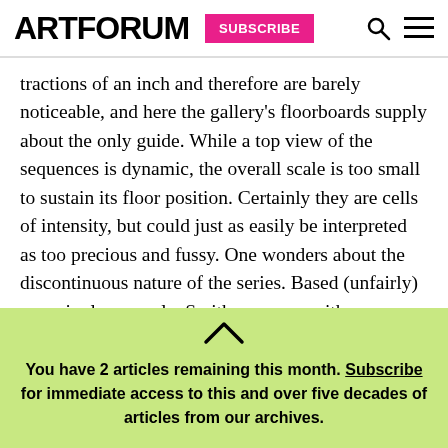ARTFORUM SUBSCRIBE
tractions of an inch and therefore are barely noticeable, and here the gallery's floorboards supply about the only guide. While a top view of the sequences is dynamic, the overall scale is too small to sustain its floor position. Certainly they are cells of intensity, but could just as easily be interpreted as too precious and fussy. One wonders about the discontinuous nature of the series. Based (unfairly) on a single example, Smithson seems either involved i…
You have 2 articles remaining this month. Subscribe for immediate access to this and over five decades of articles from our archives.